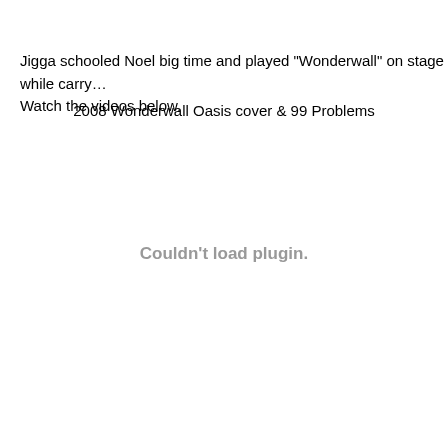Jigga schooled Noel big time and played "Wonderwall" on stage while carry... Watch the videos below.
2008 Wonderwall Oasis cover & 99 Problems
[Figure (other): Embedded video plugin area showing 'Couldn't load plugin.' message in gray text]